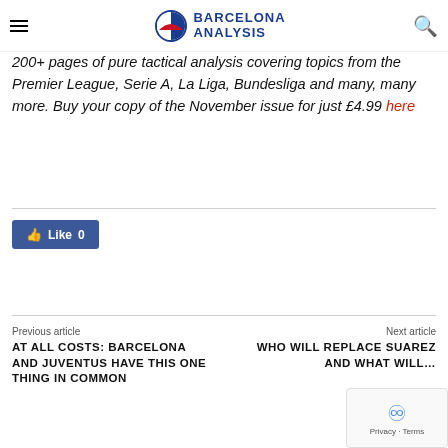Barcelona Analysis
200+ pages of pure tactical analysis covering topics from the Premier League, Serie A, La Liga, Bundesliga and many, many more. Buy your copy of the November issue for just £4.99 here
[Figure (other): Facebook Like button showing 0 likes]
Previous article
Next article
AT ALL COSTS: BARCELONA AND JUVENTUS HAVE THIS ONE THING IN COMMON
WHO WILL REPLACE SUAREZ AND WHAT WILL…